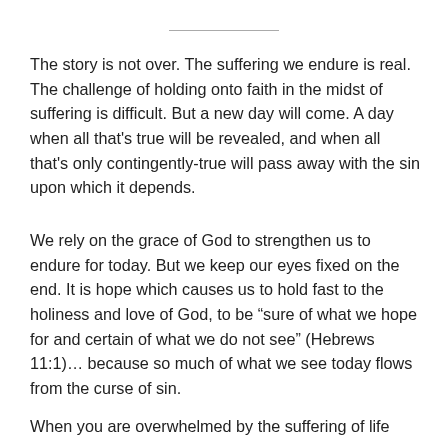The story is not over. The suffering we endure is real. The challenge of holding onto faith in the midst of suffering is difficult. But a new day will come. A day when all that's true will be revealed, and when all that's only contingently-true will pass away with the sin upon which it depends.
We rely on the grace of God to strengthen us to endure for today. But we keep our eyes fixed on the end. It is hope which causes us to hold fast to the holiness and love of God, to be “sure of what we hope for and certain of what we do not see” (Hebrews 11:1)… because so much of what we see today flows from the curse of sin.
When you are overwhelmed by the suffering of life